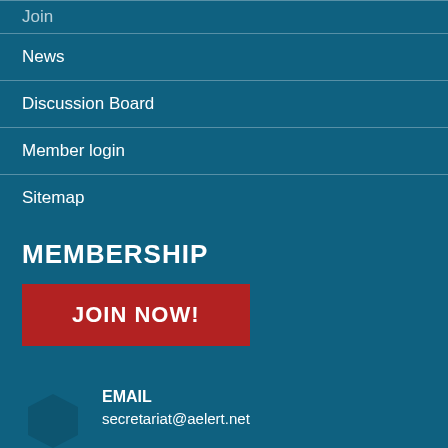Join
News
Discussion Board
Member login
Sitemap
MEMBERSHIP
JOIN NOW!
EMAIL secretariat@aelert.net
Postal address PO Box 858, Canberra ACT 2601